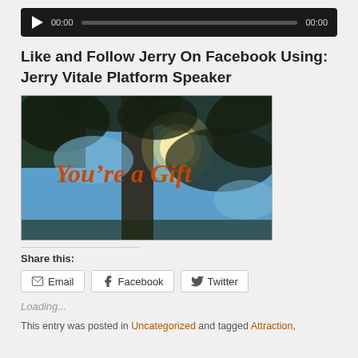[Figure (screenshot): Audio player with dark background, play button, time display showing 00:00, progress bar, and end time 00:00]
Like and Follow Jerry On Facebook Using: Jerry Vitale Platform Speaker
[Figure (photo): Photo of tree canopy looking up with sunlight, with orange script text overlay reading 'You're a Gift']
Share this:
Email  Facebook  Twitter
Loading...
This entry was posted in Uncategorized and tagged Attraction,